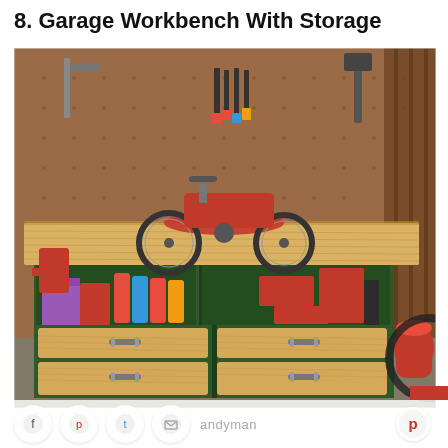8. Garage Workbench With Storage
[Figure (photo): A garage workbench with a wood top surface and dark green base frame featuring open shelving with spray cans and tool boxes, plus four pine wood drawers with metal handles. A red children's tricycle sits on top. The background wall is pegboard covered with various hand tools. A shop vacuum is visible on the right side.]